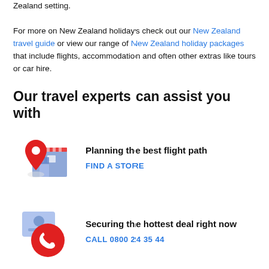Zealand setting.
For more on New Zealand holidays check out our New Zealand travel guide or view our range of New Zealand holiday packages that include flights, accommodation and often other extras like tours or car hire.
Our travel experts can assist you with
[Figure (illustration): Red map pin location marker in front of a blue building/store icon]
Planning the best flight path
FIND A STORE
[Figure (illustration): Red phone handset circle icon with a blue contact card icon overlapping]
Securing the hottest deal right now
CALL 0800 24 35 44